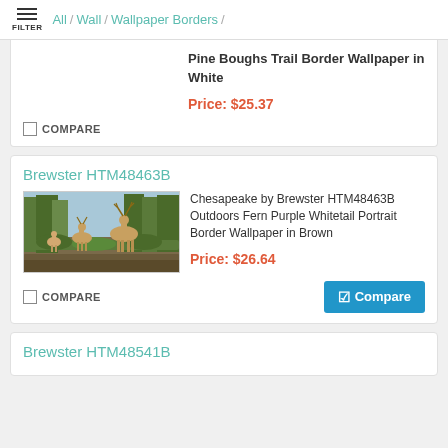All / Wall / Wallpaper Borders /
Pine Boughs Trail Border Wallpaper in White
Price: $25.37
COMPARE
Brewster HTM48463B
[Figure (photo): Photo of Chesapeake whitetail deer border wallpaper showing deer in a forest scene with trees and foliage]
Chesapeake by Brewster HTM48463B Outdoors Fern Purple Whitetail Portrait Border Wallpaper in Brown
Price: $26.64
COMPARE
Compare
Brewster HTM48541B